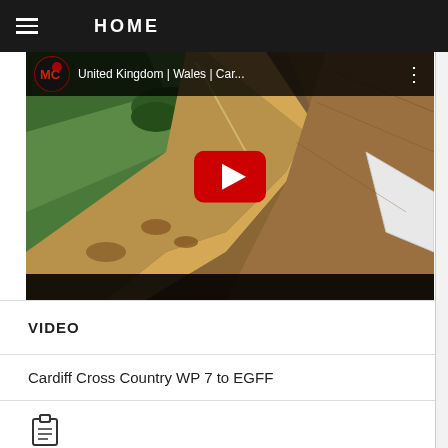HOME
[Figure (screenshot): YouTube video thumbnail showing aerial view of Welsh coastline with green fields meeting a muddy estuary/shoreline. Video title reads 'United Kingdom | Wales | Car...' with a YouTube channel logo and play button overlay.]
VIDEO
Cardiff Cross Country WP 7 to EGFF